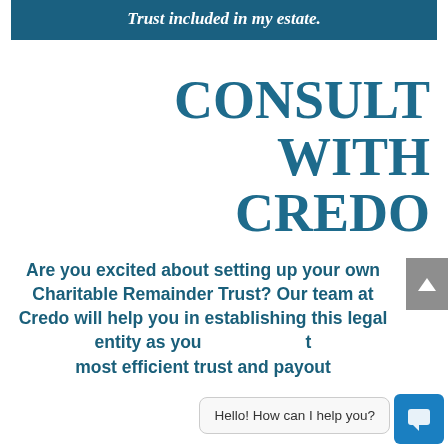Trust included in my estate.
CONSULT WITH CREDO
Are you excited about setting up your own Charitable Remainder Trust? Our team at Credo will help you in establishing this legal entity as you... the most efficient trust and payout
Hello! How can I help you?